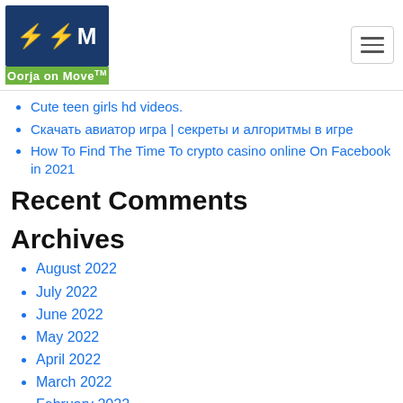Oorja on Move logo and navigation
Cute teen girls hd videos.
Скачать авиатор игра | секреты и алгоритмы в игре
How To Find The Time To crypto casino online On Facebook in 2021
Recent Comments
Archives
August 2022
July 2022
June 2022
May 2022
April 2022
March 2022
February 2022